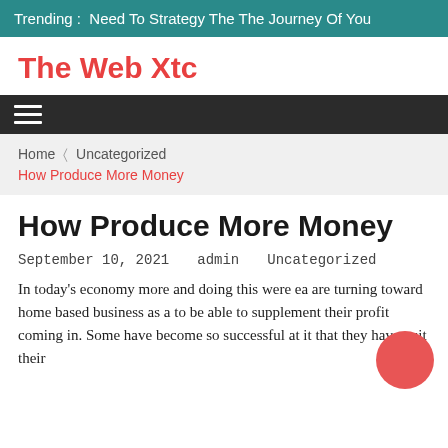Trending :  Need To Strategy The The Journey Of You
The Web Xtc
Home   Uncategorized
How Produce More Money
How Produce More Money
September 10, 2021   admin   Uncategorized
In today's economy more and doing this were ea are turning toward home based business as a to be able to supplement their profit coming in. Some have become so successful at it that they have quit their